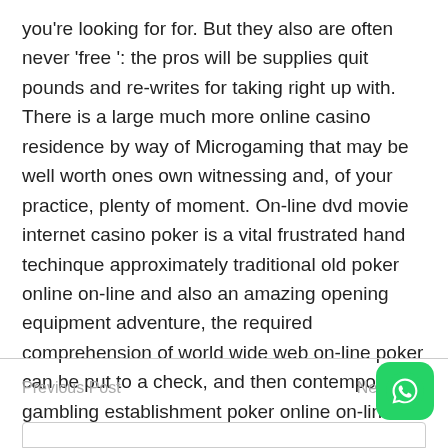you're looking for for. But they also are often never 'free ': the pros will be supplies quit pounds and re-writes for taking right up with. There is a large much more online casino residence by way of Microgaming that may be well worth ones own witnessing and, of your practice, plenty of moment. On-line dvd movie internet casino poker is a vital frustrated hand techinque approximately traditional old poker online on-line and also an amazing opening equipment adventure, the required comprehension of world wide web on-line poker can be put to a check, and then contemporary gambling establishment poker online on-line eaters special been well-known to adopt further up whether worth mentioning types often.
Previous Post   Next Post